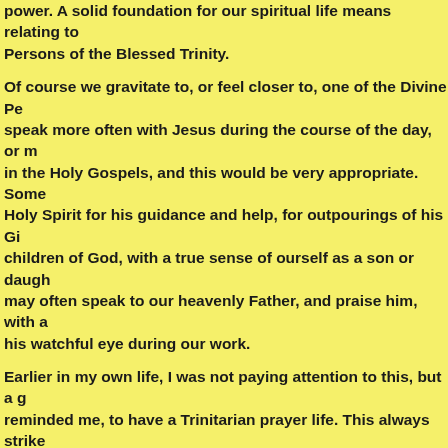power. A solid foundation for our spiritual life means relating to Persons of the Blessed Trinity.
Of course we gravitate to, or feel closer to, one of the Divine Pe speak more often with Jesus during the course of the day, or m in the Holy Gospels, and this would be very appropriate. Some Holy Spirit for his guidance and help, for outpourings of his Gi children of God, with a true sense of ourself as a son or daugh may often speak to our heavenly Father, and praise him, with a his watchful eye during our work.
Earlier in my own life, I was not paying attention to this, but a g reminded me, to have a Trinitarian prayer life. This always strike my heart when we recite the prayers for people who are near de reminded of each of the Divine Persons: as the person is dying, forth, Christian soul, from this world in the name of God the alm created you, in the name of Jesus Christ, Son of the living God, you; in the name of the Holy Spirit, who was poured out upon y faithful Christian!
God the Father, Jesus, God the Holy Spirit – however we pray a each day should find us relating to each of these dear, Divine P should be with us too.
In this way, we will have built our spiritual life on a solid founda